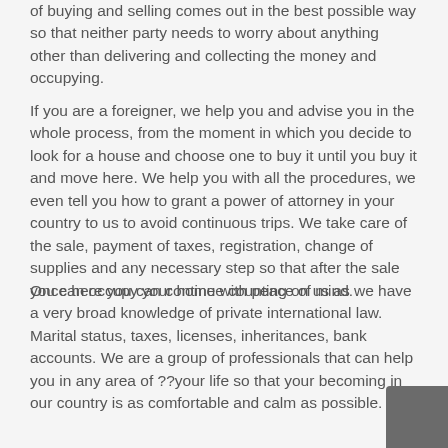of buying and selling comes out in the best possible way so that neither party needs to worry about anything other than delivering and collecting the money and occupying.
If you are a foreigner, we help you and advise you in the whole process, from the moment in which you decide to look for a house and choose one to buy it until you buy it and move here. We help you with all the procedures, we even tell you how to grant a power of attorney in your country to us to avoid continuous trips. We take care of the sale, payment of taxes, registration, change of supplies and any necessary step so that after the sale you can occupy your home with peace of mind.
Once here you can continue counting on us as we have a very broad knowledge of private international law. Marital status, taxes, licenses, inheritances, bank accounts. We are a group of professionals that can help you in any area of ??your life so that your becoming in our country is as comfortable and calm as possible.